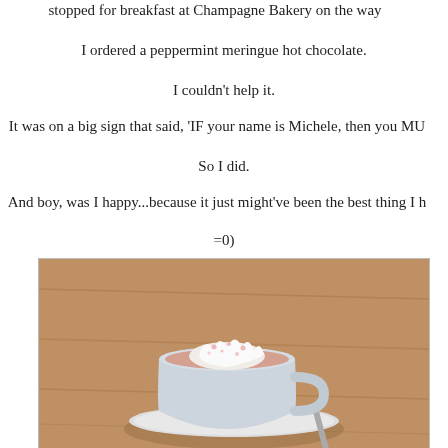stopped for breakfast at Champagne Bakery on the way
I ordered a peppermint meringue hot chocolate.
I couldn't help it.
It was on a big sign that said, 'IF your name is Michele, then you MU
So I did.
And boy, was I happy...because it just might've been the best thing I h
=0)
[Figure (photo): A white ceramic mug filled with peppermint meringue hot chocolate, sitting on a white saucer with a spoon, on a wooden table.]